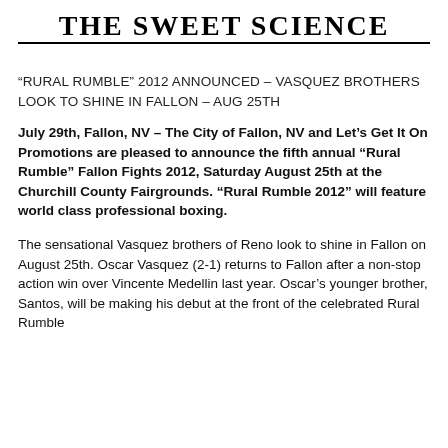THE SWEET SCIENCE
“RURAL RUMBLE” 2012 ANNOUNCED – VASQUEZ BROTHERS LOOK TO SHINE IN FALLON – AUG 25TH
July 29th, Fallon, NV – The City of Fallon, NV and Let’s Get It On Promotions are pleased to announce the fifth annual “Rural Rumble” Fallon Fights 2012, Saturday August 25th at the Churchill County Fairgrounds. “Rural Rumble 2012” will feature world class professional boxing.
The sensational Vasquez brothers of Reno look to shine in Fallon on August 25th. Oscar Vasquez (2-1) returns to Fallon after a non-stop action win over Vincente Medellin last year. Oscar’s younger brother, Santos, will be making his debut at the front of the celebrated Rural Rumble